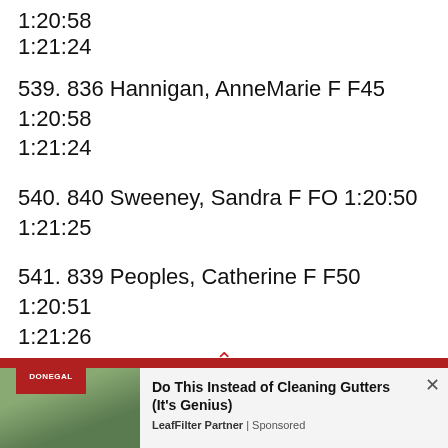1:20:58 1:21:24
539. 836 Hannigan, AnneMarie F F45 1:20:58 1:21:24
540. 840 Sweeney, Sandra F FO 1:20:50 1:21:25
541. 839 Peoples, Catherine F F50 1:20:51 1:21:26
542. 841 Russell, Donna F FO 1:20:52 1:21:26
543. 821 Monaghan, Geraldine F FO 1:21:29